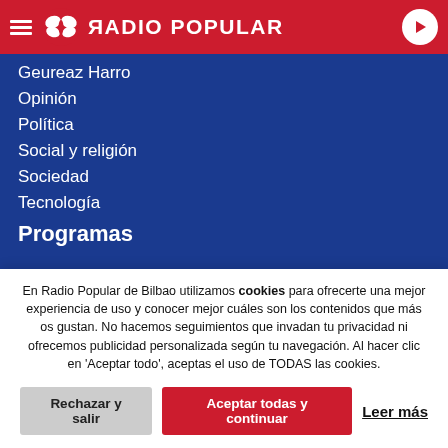RADIO POPULAR
Geureaz Harro
Opinión
Política
Social y religión
Sociedad
Tecnología
Programas
EgunOn Bizkaia
EgunOn Magazine
Euskadin Gaur
En Radio Popular de Bilbao utilizamos cookies para ofrecerte una mejor experiencia de uso y conocer mejor cuáles son los contenidos que más os gustan. No hacemos seguimientos que invadan tu privacidad ni ofrecemos publicidad personalizada según tu navegación. Al hacer clic en 'Aceptar todo', aceptas el uso de TODAS las cookies.
Rechazar y salir | Aceptar todas y continuar | Leer más